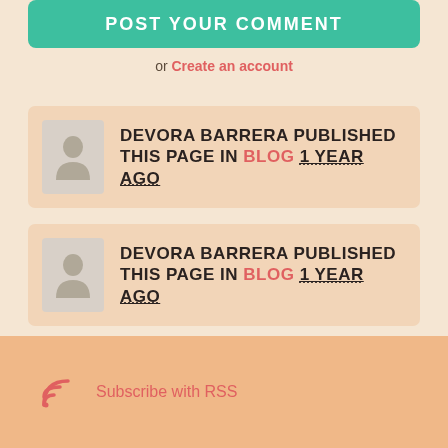POST YOUR COMMENT
or Create an account
DEVORA BARRERA PUBLISHED THIS PAGE IN BLOG 1 YEAR AGO
DEVORA BARRERA PUBLISHED THIS PAGE IN BLOG 1 YEAR AGO
Subscribe with RSS